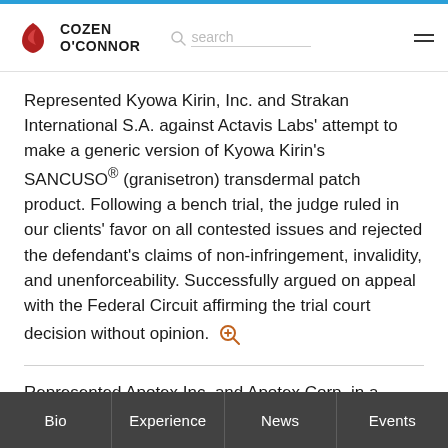[Figure (logo): Cozen O'Connor law firm logo with red flame/leaf icon and bold text]
Represented Kyowa Kirin, Inc. and Strakan International S.A. against Actavis Labs' attempt to make a generic version of Kyowa Kirin's SANCUSO® (granisetron) transdermal patch product. Following a bench trial, the judge ruled in our clients' favor on all contested issues and rejected the defendant's claims of non-infringement, invalidity, and unenforceability. Successfully argued on appeal with the Federal Circuit affirming the trial court decision without opinion.
Represented Apotex Inc. and Apotex Corp. in a patent infringement action regarding Apotex's biosimilar applications to make biosimilar versions of Amgen's NEULASTA® and NEUPOGEN® products. Litigated Apotex through the Biologics Price Competition and
Bio | Experience | News | Events